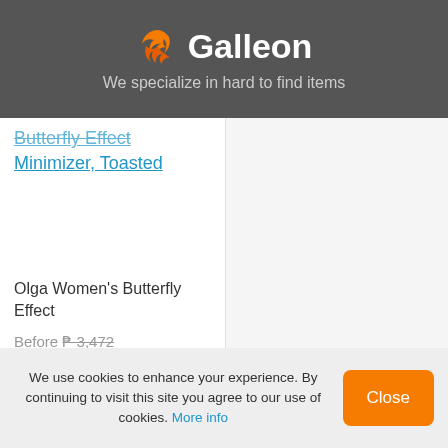[Figure (logo): Galleon logo with orange ship/bird icon and white text on dark grey background]
We specialize in hard to find items
Butterfly Effect Minimizer, Toasted
Olga Women's Butterfly Effect
Before ₱ 3,472
₱ 1,566
We use cookies to enhance your experience. By continuing to visit this site you agree to our use of cookies. More info